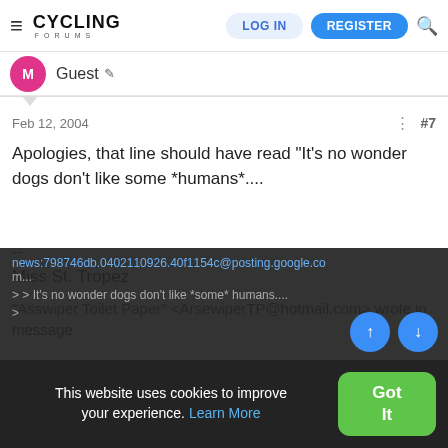CYCLING FORUMS — LOG IN | REGISTER
Guest
Feb 12, 2004  #7
Apologies, that line should have read "It's no wonder dogs don't like some *humans*....
--
Miss St. Tropez
"Asswiper Toilet Paper" <ArsewiperTP@hotmail.com> wrote in message
news:798746db.0402110926.40f1154c@posting.google.co m...
> > It's no wonder dogs don't like *some* humans....
>
This website uses cookies to improve your experience. Learn More  Got It